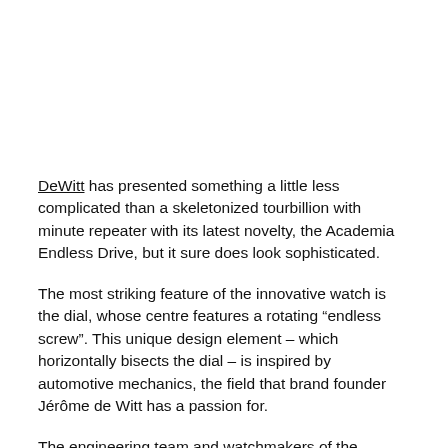DeWitt has presented something a little less complicated than a skeletonized tourbillion with minute repeater with its latest novelty, the Academia Endless Drive, but it sure does look sophisticated.
The most striking feature of the innovative watch is the dial, whose centre features a rotating “endless screw”. This unique design element – which horizontally bisects the dial – is inspired by automotive mechanics, the field that brand founder Jérôme de Witt has a passion for.
The engineering team and watchmakers of the Geneva-based manufacture based this innovation on the standard in-house DeWitt 5050 automatic movement.